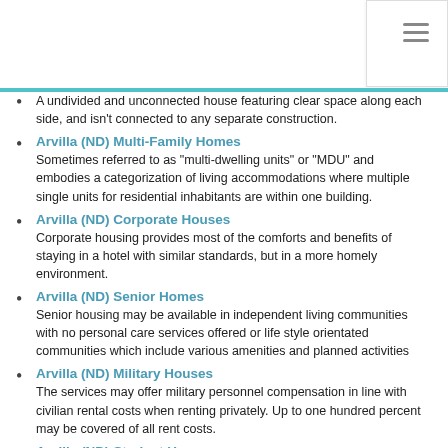A undivided and unconnected house featuring clear space along each side, and isn't connected to any separate construction.
Arvilla (ND) Multi-Family Homes
Sometimes referred to as "multi-dwelling units" or "MDU" and embodies a categorization of living accommodations where multiple single units for residential inhabitants are within one building.
Arvilla (ND) Corporate Houses
Corporate housing provides most of the comforts and benefits of staying in a hotel with similar standards, but in a more homely environment.
Arvilla (ND) Senior Homes
Senior housing may be available in independent living communities with no personal care services offered or life style orientated communities which include various amenities and planned activities
Arvilla (ND) Military Houses
The services may offer military personnel compensation in line with civilian rental costs when renting privately. Up to one hundred percent may be covered of all rent costs.
Arvilla (ND) Student Homes
House sharing for student in many cases has become the norm for